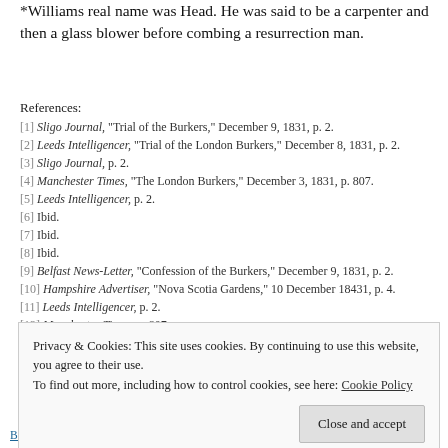*Williams real name was Head. He was said to be a carpenter and then a glass blower before combing a resurrection man.
References:
[1] Sligo Journal, "Trial of the Burkers," December 9, 1831, p. 2.
[2] Leeds Intelligencer, "Trial of the London Burkers," December 8, 1831, p. 2.
[3] Sligo Journal, p. 2.
[4] Manchester Times, "The London Burkers," December 3, 1831, p. 807.
[5] Leeds Intelligencer, p. 2.
[6] Ibid.
[7] Ibid.
[8] Ibid.
[9] Belfast News-Letter, "Confession of the Burkers," December 9, 1831, p. 2.
[10] Hampshire Advertiser, "Nova Scotia Gardens," 10 December 18431, p. 4.
[11] Leeds Intelligencer, p. 2.
[12] Manchester Times, p. 807.
[13] Leeds Intelligencer, p. 2.
[14] Mayo Constitution, "Execution of the Burkers," December 12, 1831, p. 4.
Share this:
Privacy & Cookies: This site uses cookies. By continuing to use this website, you agree to their use. To find out more, including how to control cookies, see here: Cookie Policy
Close and accept
Body Snatchers in the 1700 and 1800...
Laudanum: An 18th and 19th Century Murder...